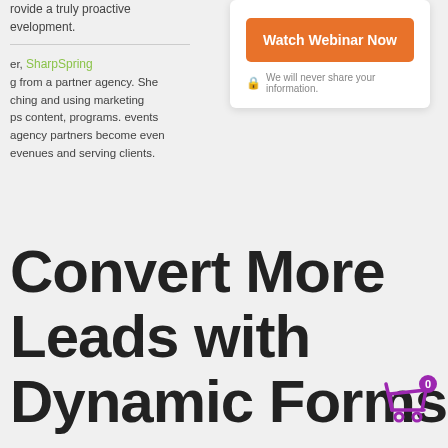rovide a truly proactive evelopment.
er, SharpSpring
g from a partner agency. She
ching and using marketing
ps content, programs. events
agency partners become even
evenues and serving clients.
[Figure (screenshot): Orange 'Watch Webinar Now' button with a privacy note 'We will never share your information.' with a lock icon, inside a white card]
Convert More Leads with Dynamic Forms
Collect leads that integrate directly with your marketing CRM software. Build,
[Figure (illustration): Purple shopping cart icon with a purple circle badge showing '0' in the bottom right corner]